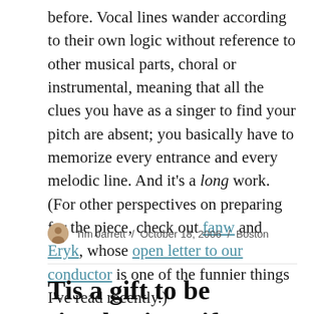before. Vocal lines wander according to their own logic without reference to other musical parts, choral or instrumental, meaning that all the clues you have as a singer to find your pitch are absent; you basically have to memorize every entrance and every melodic line. And it's a long work. (For other perspectives on preparing for the piece, check out fanw and Eryk, whose open letter to our conductor is one of the funnier things I've read recently.)
Tim Jarrett / October 18, 2006 / Boston
Tis a gift to be simple, tis a gift to … write code?